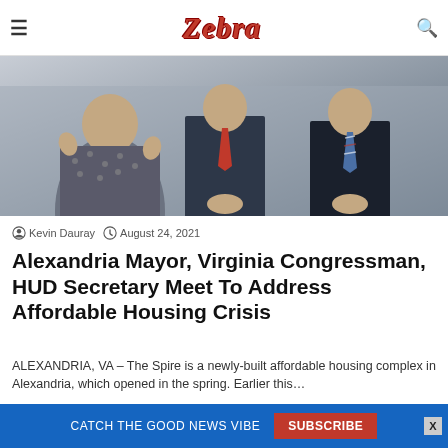Zebra
[Figure (photo): Group of people in formal business attire, including a woman in a patterned dress gesturing with her hands and men in suits with ties standing behind her.]
Kevin Dauray  August 24, 2021
Alexandria Mayor, Virginia Congressman, HUD Secretary Meet To Address Affordable Housing Crisis
ALEXANDRIA, VA – The Spire is a newly-built affordable housing complex in Alexandria, which opened in the spring. Earlier this…
Read More »
CATCH THE GOOD NEWS VIBE  SUBSCRIBE